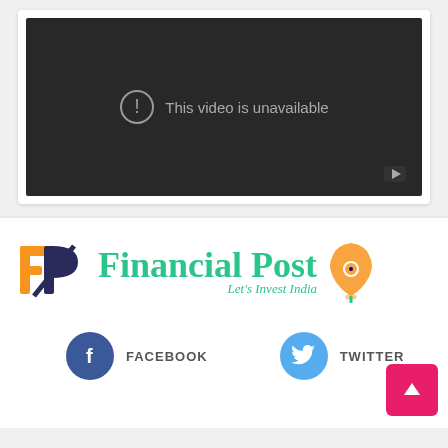[Figure (screenshot): YouTube video player showing 'This video is unavailable' error message on dark background with YouTube logo button in bottom right corner]
[Figure (logo): Financial Post India logo with orange FP monogram, green 'Financial Post' text, italic tagline 'Let's Invest India', and Indian flag map icon]
FACEBOOK
TWITTER